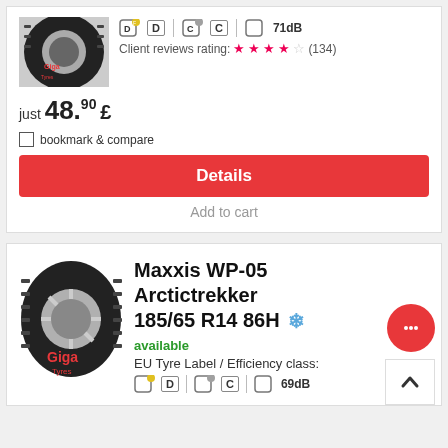[Figure (photo): Tire image (partially visible at top of first card)]
D | C | 71dB
Client reviews rating: ★★★★☆ (134)
just 48.90 £
bookmark & compare
Details
Add to cart
[Figure (photo): Maxxis WP-05 Arctictrekker tire image with Giga Tyres watermark]
Maxxis WP-05 Arctictrekker 185/65 R14 86H ❄
available
EU Tyre Label / Efficiency class:
D | C | 69dB